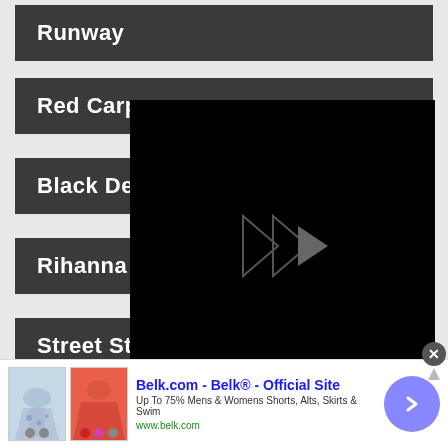Runway
Red Carp...
Black De...
Rihanna
Street Style
[Figure (screenshot): Black video player overlay with skip/fast-forward triangular icon in center]
[Figure (photo): Advertisement banner for Belk.com showing skirts, with title 'Belk.com - Belk® - Official Site', subtitle 'Up To 75% Mens & Womens Shorts, Alts, Skirts & Swim', URL 'www.belk.com', close button, and forward arrow circle button]